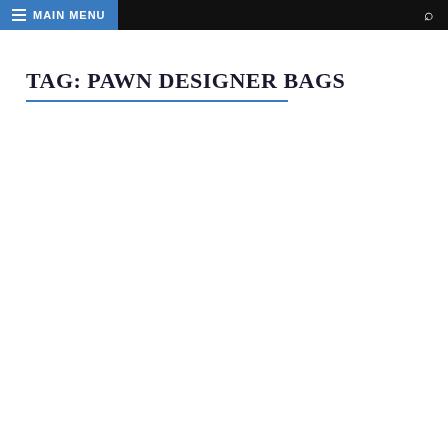MAIN MENU
TAG: PAWN DESIGNER BAGS